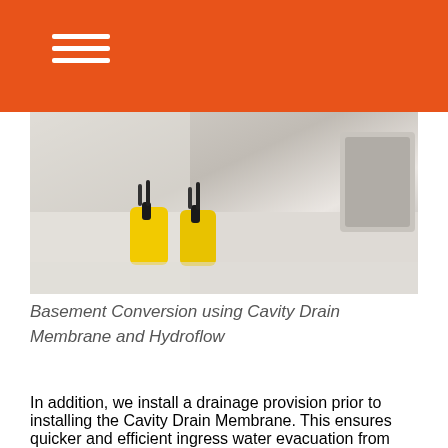[Figure (photo): Basement interior showing two yellow submersible pumps installed in a white-lined cavity drain membrane system]
Basement Conversion using Cavity Drain Membrane and Hydroflow
In addition, we install a drainage provision prior to installing the Cavity Drain Membrane. This ensures quicker and efficient ingress water evacuation from behind the membrane. Further, we apply internal finishes of insulation and plastering in front of the membrane. This allows for finishing touches on dry and insulated surface. We also arrange routine maintenance of drainage channels and